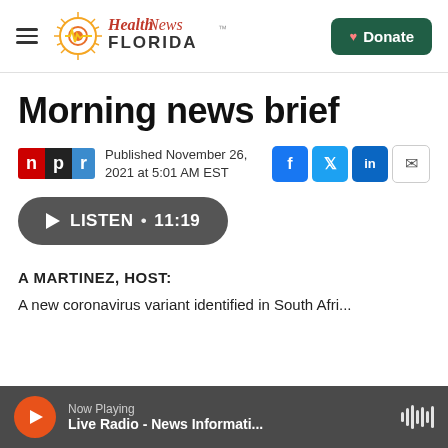[Figure (logo): Health News Florida logo with sun and heartbeat waveform, orange and yellow colors]
Morning news brief
Published November 26, 2021 at 5:01 AM EST
LISTEN • 11:19
A MARTINEZ, HOST:
A new coronavirus variant identified in South Afri...
Now Playing
Live Radio - News Informati...